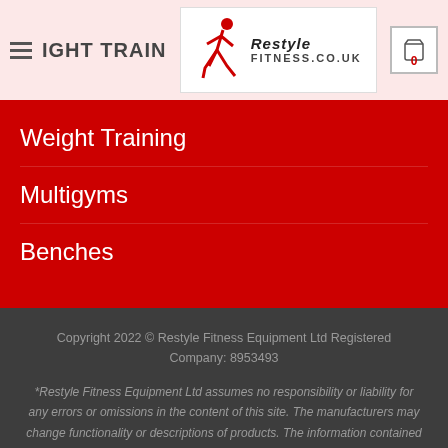WEIGHT TRAINING — Restyle Fitness logo — Cart: 0
Weight Training
Multigyms
Benches
Copyright 2022 © Restyle Fitness Equipment Ltd Registered Company: 8953493
*Restyle Fitness Equipment Ltd assumes no responsibility or liability for any errors or omissions in the content of this site. The manufacturers may change functionality or descriptions of products. The information contained in this site is provided on an "as is" basis with no guarantees of completeness or accuracy